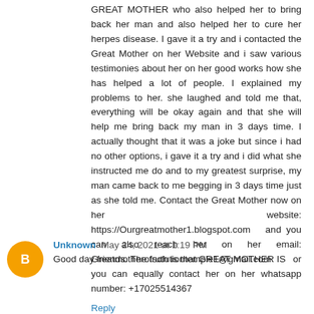GREAT MOTHER who also helped her to bring back her man and also helped her to cure her herpes disease. I gave it a try and i contacted the Great Mother on her Website and i saw various testimonies about her on her good works how she has helped a lot of people. I explained my problems to her. she laughed and told me that, everything will be okay again and that she will help me bring back my man in 3 days time. I actually thought that it was a joke but since i had no other options, i gave it a try and i did what she instructed me do and to my greatest surprise, my man came back to me begging in 3 days time just as she told me. Contact the Great Mother now on her website: https://Ourgreatmother1.blogspot.com   and you can also reach her on her email: Greatmotherofsolutiontemple1@gmail.com   or you can equally contact her on her whatsapp number: +17025514367
Reply
Unknown May 24, 2021 at 1:19 PM
Good day friends. The truth is that GREAT MOTHER IS